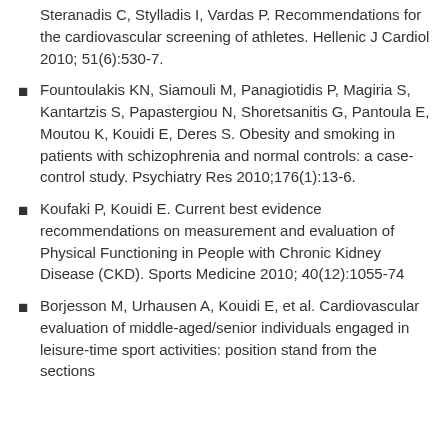Steranadis C, Stylladis I, Vardas P. Recommendations for the cardiovascular screening of athletes. Hellenic J Cardiol 2010; 51(6):530-7.
Fountoulakis KN, Siamouli M, Panagiotidis P, Magiria S, Kantartzis S, Papastergiou N, Shoretsanitis G, Pantoula E, Moutou K, Kouidi E, Deres S. Obesity and smoking in patients with schizophrenia and normal controls: a case-control study. Psychiatry Res 2010;176(1):13-6.
Koufaki P, Kouidi E. Current best evidence recommendations on measurement and evaluation of Physical Functioning in People with Chronic Kidney Disease (CKD). Sports Medicine 2010; 40(12):1055-74
Borjesson M, Urhausen A, Kouidi E, et al. Cardiovascular evaluation of middle-aged/senior individuals engaged in leisure-time sport activities: position stand from the sections